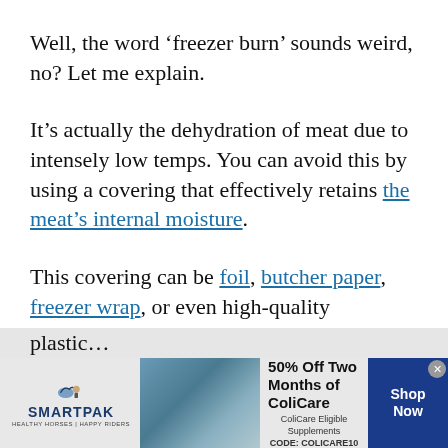Well, the word ‘freezer burn’ sounds weird, no? Let me explain.
It’s actually the dehydration of meat due to intensely low temps. You can avoid this by using a covering that effectively retains the meat’s internal moisture.
This covering can be foil, butcher paper, freezer wrap, or even high-quality plastic…
[Figure (other): SmartPak advertisement banner: 50% Off Two Months of ColiCare, ColiCare Eligible Supplements, CODE: COLICARE10, Shop Now button. Shows SmartPak logo with horse and rider image.]